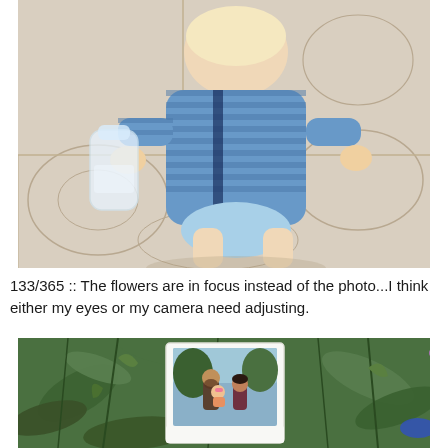[Figure (photo): Overhead view of a toddler in a blue striped cardigan and diaper, holding a clear plastic water bottle, standing on a decorative tiled floor.]
133/365 :: The flowers are in focus instead of the photo...I think either my eyes or my camera need adjusting.
[Figure (photo): Close-up photo of green leafy plants with a Polaroid-style printed photograph propped up among the foliage, showing a family of three (man, woman, and baby) outdoors.]